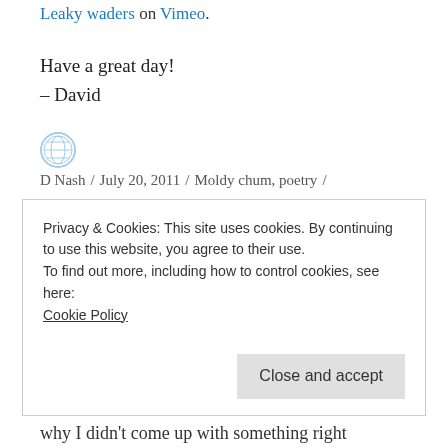Leaky waders on Vimeo.
Have a great day!
– David
D Nash / July 20, 2011 / Moldy chum, poetry / 9 Comments
Summer Traditions
Privacy & Cookies: This site uses cookies. By continuing to use this website, you agree to their use.
To find out more, including how to control cookies, see here: Cookie Policy
why I didn't come up with something right